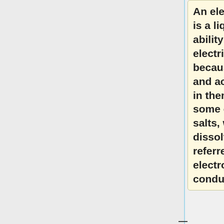An electrolyte solution is a liquid that has the ability to transfer electricity. It is so because salts, bases, and acids are dissolved in them. This is why in some cases molten salts, when not dissolved, may be referred to as electrolytes. They help conduct electricity.